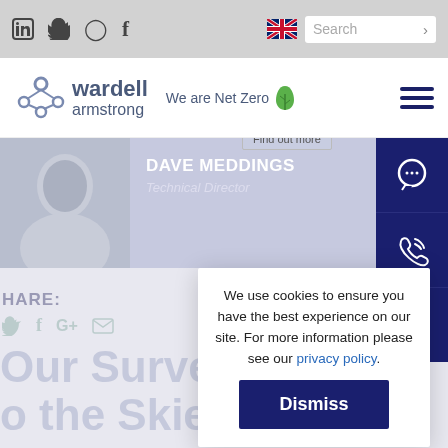Social icons: LinkedIn, Twitter, Instagram, Facebook | UK flag | Search
[Figure (screenshot): Wardell Armstrong logo with 'We are Net Zero' tagline and green leaf icon, hamburger menu icon on right]
[Figure (screenshot): Dave Meddings - Technical Director profile card with photo, 'Find out more' buttons, share icons, partial title 'Our Survey T... o the Skies!', and cookie consent popup overlay]
DAVE MEDDINGS
Technical Director
HARE:
Our Survey T...
o the Skies!
We use cookies to ensure you have the best experience on our site. For more information please see our privacy policy.
Dismiss